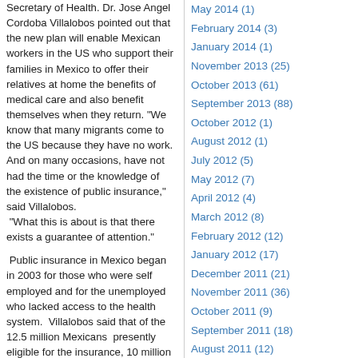Secretary of Health. Dr. Jose Angel Cordoba Villalobos pointed out that the new plan will enable Mexican workers in the US who support their families in Mexico to offer their relatives at home the benefits of medical care and also benefit themselves when they return. "We know that many migrants come to the US because they have no work. And on many occasions, have not had the time or the knowledge of the existence of public insurance," said Villalobos. "What this is about is that there exists a guarantee of attention."
Public insurance in Mexico began in 2003 for those who were self employed and for the unemployed who lacked access to the health system. Villalobos said that of the 12.5 million Mexicans presently eligible for the insurance, 10 million use it
May 2014 (1)
February 2014 (3)
January 2014 (1)
November 2013 (25)
October 2013 (61)
September 2013 (88)
October 2012 (1)
August 2012 (1)
July 2012 (5)
May 2012 (7)
April 2012 (4)
March 2012 (8)
February 2012 (12)
January 2012 (17)
December 2011 (21)
November 2011 (36)
October 2011 (9)
September 2011 (18)
August 2011 (12)
July 2011 (1)
June 2011 (1)